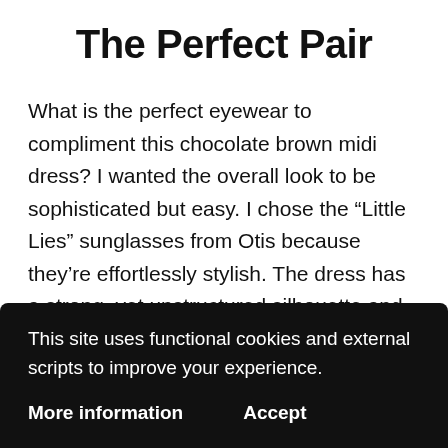The Perfect Pair
What is the perfect eyewear to compliment this chocolate brown midi dress? I wanted the overall look to be sophisticated but easy. I chose the “Little Lies” sunglasses from Otis because they’re effortlessly stylish. The dress has a strong, yet unstructured silhouette and these sunglasses enhance that. Along with my leopard-print espadrilles, they add visual texture to the outfit without competing. (I wear
This site uses functional cookies and external scripts to improve your experience.
More information
Accept